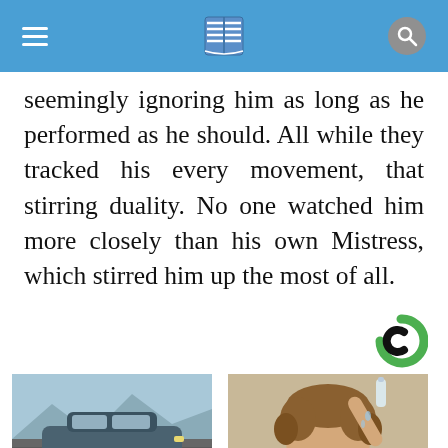Navigation bar with hamburger menu, book icon, and search icon
seemingly ignoring him as long as he performed as he should. All while they tracked his every movement, that stirring duality. No one watched him more closely than his own Mistress, which stirred him up the most of all.
[Figure (logo): Taboola-style circular logo with green arc and black C shape]
[Figure (photo): Silver/dark SUV car parked on a road with mountains in background]
Shop the Best New & Used Car Deals in Your Area?
Ad by Car Deals Near You
[Figure (photo): Man with curly hair smiling, pouring water on his head]
Tinnitus? when the Ringing Won't Stop, Do This (It's Genius)